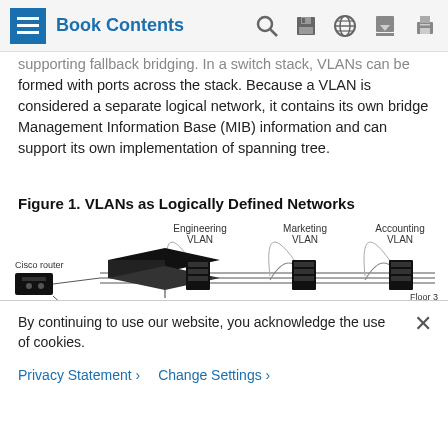Book Contents
supporting fallback bridging. In a switch stack, VLANs can be formed with ports across the stack. Because a VLAN is considered a separate logical network, it contains its own bridge Management Information Base (MIB) information and can support its own implementation of spanning tree.
Figure 1. VLANs as Logically Defined Networks
[Figure (network-graph): Diagram showing VLANs as logically defined networks. Three VLANs are shown: Engineering VLAN, Marketing VLAN, and Accounting VLAN. A Cisco router is connected via Gigabit Ethernet to switches on Floor 3 and Floor 2. Each floor has servers (Floor 3) and desktop computers (Floor 2) grouped under each VLAN with arching lines indicating logical grouping across floors.]
By continuing to use our website, you acknowledge the use of cookies.
Privacy Statement >   Change Settings >